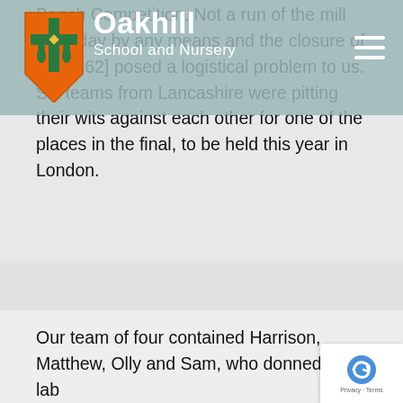Bench Competition. Not a run of the mill Saturday by any means and the closure of the [M62] posed a logistical problem to us. Six teams from Lancashire were pitting their wits against each other for one of the places in the final, to be held this year in London.
[Figure (logo): Oakhill School and Nursery logo: orange shield with green cross and figures, overlaid with white text 'Oakhill' and 'School and Nursery']
Our team of four contained Harrison, Matthew, Olly and Sam, who donned their lab